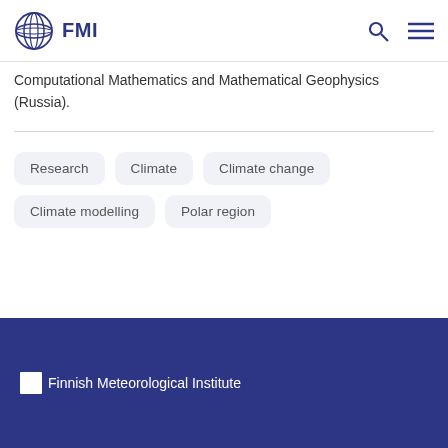[Figure (logo): FMI Finnish Meteorological Institute logo with globe icon and text FMI in dark blue, plus search and menu icons on the right]
Computational Mathematics and Mathematical Geophysics (Russia).
Research
Climate
Climate change
Climate modelling
Polar region
Finnish Meteorological Institute